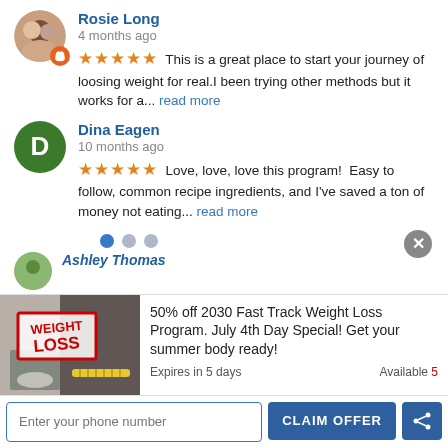Rosie Long
4 months ago
This is a great place to start your journey of loosing weight for real.I been trying other methods but it works for a... read more
Dina Eagen
10 months ago
Love, love, love this program! Easy to follow, common recipe ingredients, and I've saved a ton of money not eating... read more
Ashley Thomas
50% off 2030 Fast Track Weight Loss Program. July 4th Day Special! Get your summer body ready!
Expires in 5 days
Available 5
Enter your phone number
CLAIM OFFER
I agree to Terms
5 ★ (15)  Powered by Referrizer